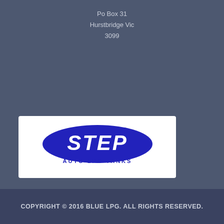PO Box 31
Hurstbridge Vic
3099
[Figure (logo): STEP AUTO LPG TANKS logo — blue oval badge with italic white STEP text and blue AUTO LPG TANKS subtitle below]
[Figure (logo): Certified Gas Cylinder Test Station badge from Global-Mark.com.au — teal wavy circular seal with red checkmark in center and text around the border]
COPYRIGHT © 2016 BLUE LPG. ALL RIGHTS RESERVED.